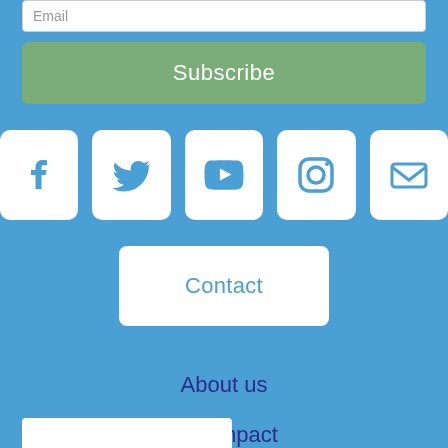Email
Subscribe
[Figure (infographic): Row of five social media icon buttons on white rounded squares: Facebook, Twitter, YouTube, Instagram, Email]
Contact
About us
Our impact
Opportunities
Shop